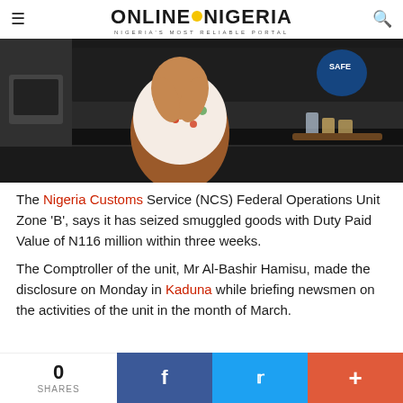ONLINE NIGERIA — NIGERIA'S MOST RELIABLE PORTAL
[Figure (photo): Woman in a floral top sitting in a kitchen, covering her face with her hands]
The Nigeria Customs Service (NCS) Federal Operations Unit Zone 'B', says it has seized smuggled goods with Duty Paid Value of N116 million within three weeks.
The Comptroller of the unit, Mr Al-Bashir Hamisu, made the disclosure on Monday in Kaduna while briefing newsmen on the activities of the unit in the month of March.